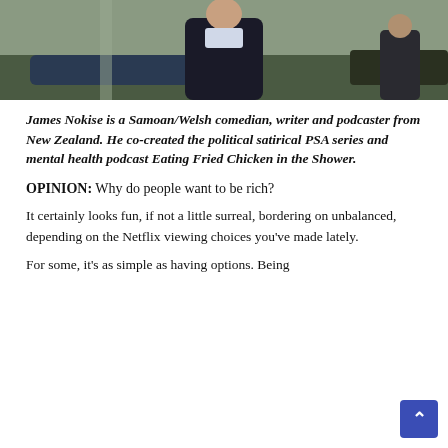[Figure (photo): A man in a dark suit walking outdoors, photographed from the waist up]
James Nokise is a Samoan/Welsh comedian, writer and podcaster from New Zealand. He co-created the political satirical PSA series and mental health podcast Eating Fried Chicken in the Shower.
OPINION: Why do people want to be rich?
It certainly looks fun, if not a little surreal, bordering on unbalanced, depending on the Netflix viewing choices you've made lately.
For some, it's as simple as having options. Being